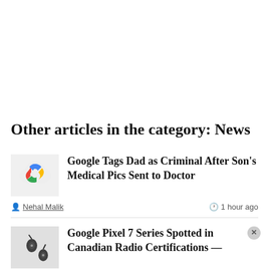Other articles in the category: News
[Figure (logo): Google cloud logo (multicolor cloud icon)]
Google Tags Dad as Criminal After Son’s Medical Pics Sent to Doctor
Nehal Malik · 1 hour ago
[Figure (photo): Small thumbnail photo showing what appears to be earbuds or tech accessories]
Google Pixel 7 Series Spotted in Canadian Radio Certifications —